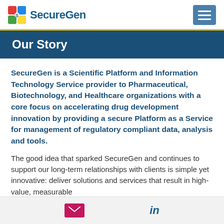SecureGen
Our Story
SecureGen is a Scientific Platform and Information Technology Service provider to Pharmaceutical, Biotechnology, and Healthcare organizations with a core focus on accelerating drug development innovation by providing a secure Platform as a Service for management of regulatory compliant data, analysis and tools.
The good idea that sparked SecureGen and continues to support our long-term relationships with clients is simple yet innovative: deliver solutions and services that result in high-value, measurable
[email icon] [LinkedIn icon]